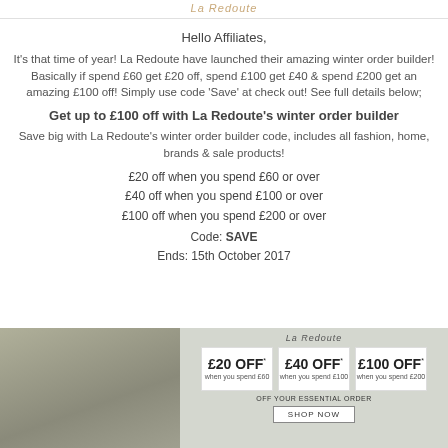La Redoute
Hello Affiliates,
It's that time of year! La Redoute have launched their amazing winter order builder! Basically if spend £60 get £20 off, spend £100 get £40 & spend £200 get an amazing £100 off! Simply use code 'Save' at check out! See full details below;
Get up to £100 off with La Redoute's winter order builder
Save big with La Redoute's winter order builder code, includes all fashion, home, brands & sale products!
£20 off when you spend £60 or over
£40 off when you spend £100 or over
£100 off when you spend £200 or over
Code: SAVE
Ends: 15th October 2017
[Figure (photo): La Redoute promotional banner showing a woman in a sweater with offer boxes: £20 OFF when you spend £60, £40 OFF when you spend £100, £100 OFF when you spend £200, and a SHOP NOW button.]